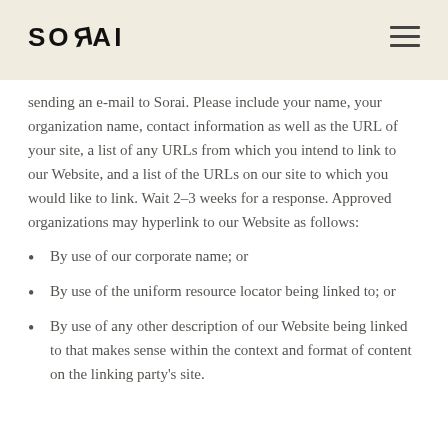SORAI
sending an e-mail to Sorai. Please include your name, your organization name, contact information as well as the URL of your site, a list of any URLs from which you intend to link to our Website, and a list of the URLs on our site to which you would like to link. Wait 2-3 weeks for a response. Approved organizations may hyperlink to our Website as follows:
By use of our corporate name; or
By use of the uniform resource locator being linked to; or
By use of any other description of our Website being linked to that makes sense within the context and format of content on the linking party's site.